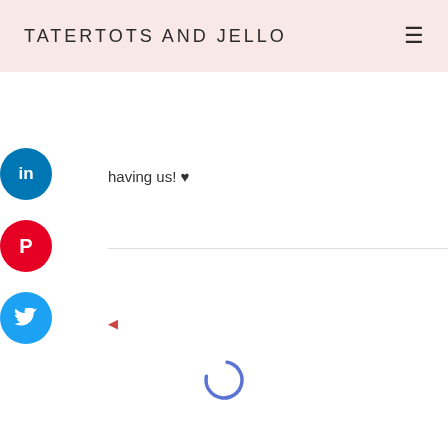TATERTOTS AND JELLO
[Figure (other): Social share buttons stack on the left side: LinkedIn (blue circle with 'in'), Pinterest (red circle with 'P'), Twitter (blue circle with bird icon). Partially cropped on the left edge.]
having us! ♥
[Figure (other): Loading spinner - a partial circle arc in blue/indigo color indicating content is loading]